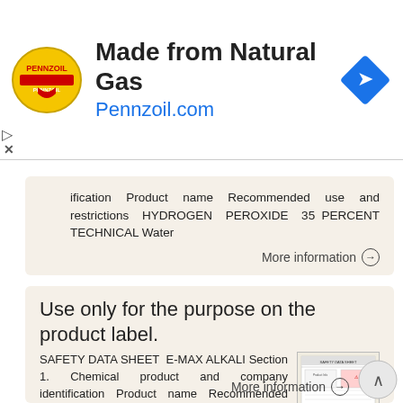[Figure (logo): Pennzoil advertisement banner with oval logo, 'Made from Natural Gas' title, Pennzoil.com URL in blue, and blue diamond navigation icon on right]
ification Product name Recommended use and restrictions HYDROGEN PEROXIDE 35 PERCENT TECHNICAL Water
More information →
Use only for the purpose on the product label.
SAFETY DATA SHEET E-MAX ALKALI Section 1. Chemical product and company identification Product name Recommended use and restrictions E-MAX ALKALI Laundry booster Use only for the purpose on the product
More information →